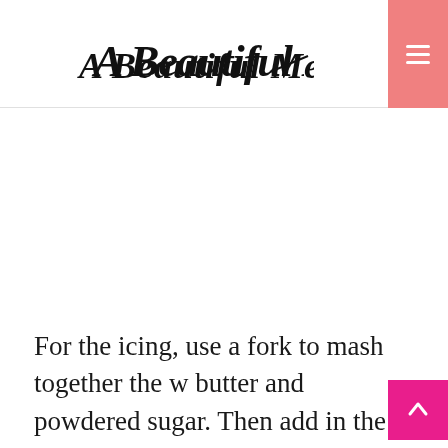A Beautiful Mess
[Figure (photo): Image area (white/blank space representing a photograph on the blog page)]
For the icing, use a fork to mash together the w butter and powdered sugar. Then add in the zest, juice and milk to form a runny buttercream type icing. If the icing is too thick, add more juice or milk, and if it's too runny, add more powdered